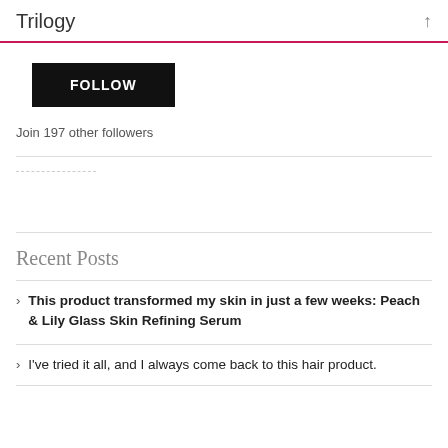Trilogy
[Figure (other): Black FOLLOW button widget]
Join 197 other followers
Recent Posts
This product transformed my skin in just a few weeks: Peach & Lily Glass Skin Refining Serum
I've tried it all, and I always come back to this hair product.